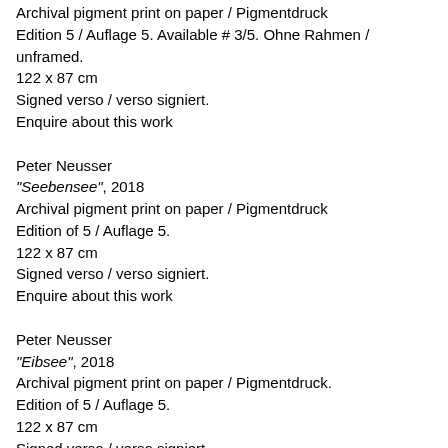Archival pigment print on paper / Pigmentdruck
Edition 5 / Auflage 5. Available # 3/5. Ohne Rahmen / unframed.
122 x 87 cm
Signed verso / verso signiert.
Enquire about this work
Peter Neusser
"Seebensee", 2018
Archival pigment print on paper / Pigmentdruck
Edition of 5 / Auflage 5.
122 x 87 cm
Signed verso / verso signiert.
Enquire about this work
Peter Neusser
"Eibsee", 2018
Archival pigment print on paper / Pigmentdruck.
Edition of 5 / Auflage 5.
122 x 87 cm
Signed verso / verso signiert.
Enquire about this work
Peter Neusser
"Watzmann Grat", 2019